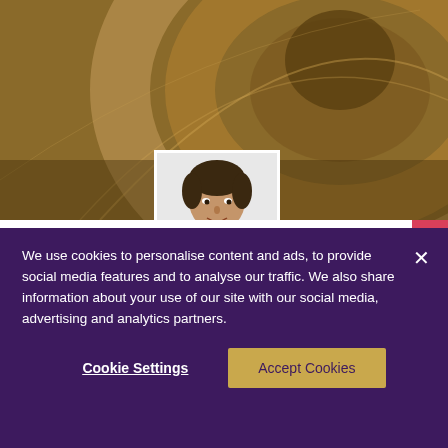[Figure (photo): Abstract architectural spiral/swirl background in warm golden-brown tones with a black and white headshot photo of David Yewdall centered at the bottom of the hero area]
Partner, Employer Solutions
David Yewdall
We use cookies to personalise content and ads, to provide social media features and to analyse our traffic. We also share information about your use of our site with our social media, advertising and analytics partners.
Cookie Settings
Accept Cookies